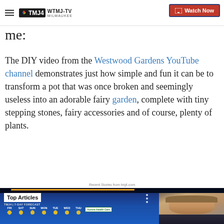WTMJ-TV MILWAUKEE | Watch Now
me:
The DIY video from the Westwood Gardens YouTube channel demonstrates just how simple and fun it can be to transform a pot that was once broken and seemingly useless into an adorable fairy garden, complete with tiny stepping stones, fairy accessories and of course, plenty of plants.
Recent Stories from tmj4.com
[Figure (screenshot): Screenshot of WTMJ-TV news broadcast showing a weather forecast strip at the bottom with days FRI SAT SUN MON TUE WED THU, a 'Top Articles' overlay label, and an anchor/reporter visible on the right side of the screen.]